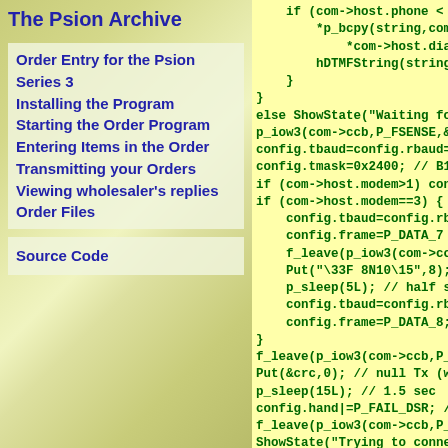The Psion Archive
Order Entry for the Psion Series 3
Installing the Program
Starting the Order Program
Entering Items in the Order
Transmitting your Orders
Viewing wholesaler's replies
Order Files
Source Code
if (com->host.phone < 3)
    *p_bcpy(string,com->hos
        *com->host.dial[com->
    hDTMFString(string);
}
}
else ShowState("Waiting for
p_iow3(com->ccb,P_FSENSE,&c
config.tbaud=config.rbaud=b
config.tmask=0x2400; // B13
if (com->host.modem>1) cont
if (com->host.modem==3) { /
    config.tbaud=config.rbau
    config.frame=P_DATA_7 | P
    f_leave(p_iow3(com->ccb,P
    Put("\33F 8N10\15",8); //
    p_sleep(5L); // half secc
    config.tbaud=config.rbaud
    config.frame=P_DATA_8;
}
f_leave(p_iow3(com->ccb,P_F
Put(&crc,0); // null Tx (wa
p_sleep(15L); // 1.5 sec
config.hand|=P_FAIL_DSR; //
f_leave(p_iow3(com->ccb,P_F
ShowState("Trying to connec
if (com->host.modem<2) { //
    pout=p_scpy(com->frame.da
    if (com->host.phone < 3)
        *(pout-2)='4';